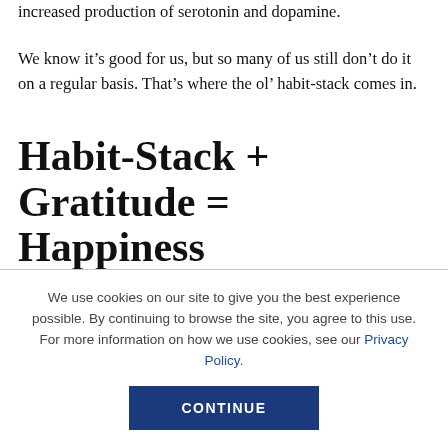increased production of serotonin and dopamine.
We know it’s good for us, but so many of us still don’t do it on a regular basis. That’s where the ol’ habit-stack comes in.
Habit-Stack + Gratitude = Happiness
We use cookies on our site to give you the best experience possible. By continuing to browse the site, you agree to this use. For more information on how we use cookies, see our Privacy Policy.
CONTINUE